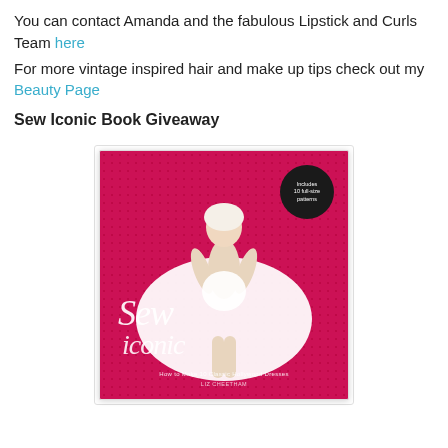You can contact Amanda and the fabulous Lipstick and Curls Team here
For more vintage inspired hair and make up tips check out my Beauty Page
Sew Iconic Book Giveaway
[Figure (photo): Book cover of 'Sew Iconic: How to Make 10 Classic Hollywood Dresses' featuring a Marilyn Monroe-style figure in a white dress on a hot pink/magenta halftone background, with script title text and a dark circular badge.]